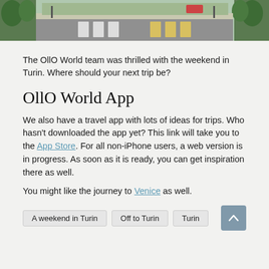[Figure (photo): Street scene showing a road with crosswalk, trees on either side, and buildings/greenery in the background. Photo of Turin street.]
The OllO World team was thrilled with the weekend in Turin. Where should your next trip be?
OllO World App
We also have a travel app with lots of ideas for trips. Who hasn't downloaded the app yet? This link will take you to the App Store. For all non-iPhone users, a web version is in progress. As soon as it is ready, you can get inspiration there as well.
You might like the journey to Venice as well.
A weekend in Turin
Off to Turin
Turin